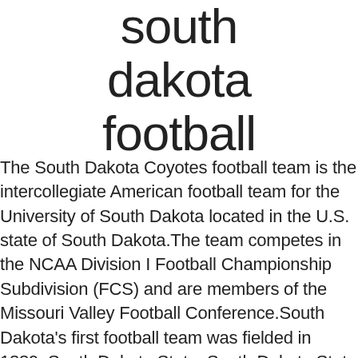south dakota football
The South Dakota Coyotes football team is the intercollegiate American football team for the University of South Dakota located in the U.S. state of South Dakota.The team competes in the NCAA Division I Football Championship Subdivision (FCS) and are members of the Missouri Valley Football Conference.South Dakota's first football team was fielded in 1889. South Dakota State. South Dakota State Football Winners, Losers of Bowl Season. SDPB Coverage of SDHSAA State Football Championships. Duke Mayo Bowl water bath? © 2005-2021 CBS INTERACTIVE ALL RIGHTS RESERVED. The Official Athletics Site of South Dakota Mines Hardrockers. SDPB Coverage of SDHSAA State Football Championships. South Dakota State's football